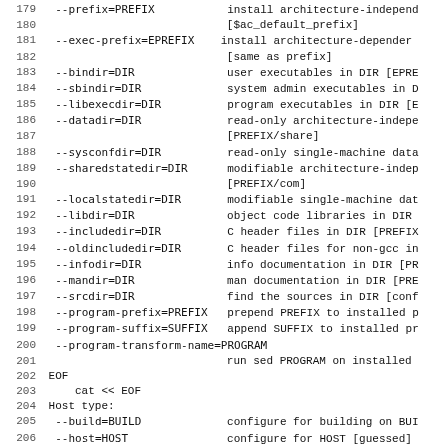179   --prefix=PREFIX           install architecture-independ...
180                              [$ac_default_prefix]
181   --exec-prefix=EPREFIX    install architecture-dependen...
182                              [same as prefix]
183   --bindir=DIR              user executables in DIR [EPRE...
184   --sbindir=DIR             system admin executables in D...
185   --libexecdir=DIR          program executables in DIR [E...
186   --datadir=DIR             read-only architecture-indepe...
187                              [PREFIX/share]
188   --sysconfdir=DIR          read-only single-machine data...
189   --sharedstatedir=DIR      modifiable architecture-indep...
190                              [PREFIX/com]
191   --localstatedir=DIR       modifiable single-machine dat...
192   --libdir=DIR              object code libraries in DIR...
193   --includedir=DIR          C header files in DIR [PREFIX...
194   --oldincludedir=DIR       C header files for non-gcc in...
195   --infodir=DIR             info documentation in DIR [PR...
196   --mandir=DIR              man documentation in DIR [PRE...
197   --srcdir=DIR              find the sources in DIR [conf...
198   --program-prefix=PREFIX   prepend PREFIX to installed p...
199   --program-suffix=SUFFIX   append SUFFIX to installed pr...
200   --program-transform-name=PROGRAM
201                              run sed PROGRAM on installed...
202 EOF
203     cat << EOF
204 Host type:
205   --build=BUILD             configure for building on BUI...
206   --host=HOST               configure for HOST [guessed]
207   --target=TARGET           configure for TARGET [TARGET=...
208 Features and packages:
209   --disable-FEATURE         do not include FEATURE (same...
210   --enable-FEATURE[=ARG]    include FEATURE [ARG=yes]